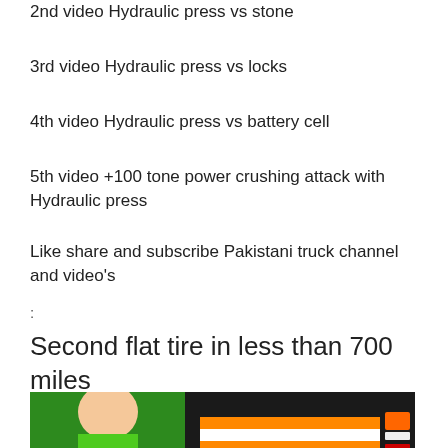2nd video Hydraulic press vs stone
3rd video Hydraulic press vs locks
4th video Hydraulic press vs battery cell
5th video +100 tone power crushing attack with Hydraulic press
Like share and subscribe Pakistani truck channel and video's
:
Second flat tire in less than 700 miles
[Figure (photo): A person in a green t-shirt crouching next to a truck, with orange and white reflective markings visible on the truck's back panel.]